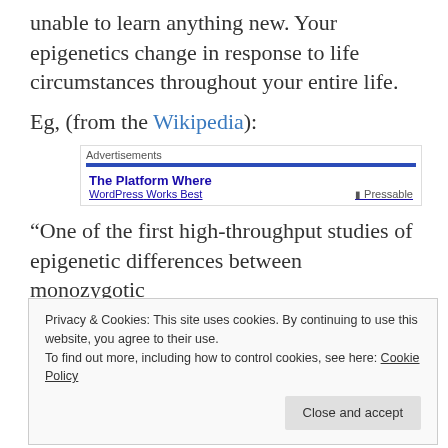unable to learn anything new. Your epigenetics change in response to life circumstances throughout your entire life.
Eg, (from the Wikipedia):
[Figure (screenshot): Advertisement banner showing 'The Platform Where WordPress Works Best' with a blue bar and Pressable logo]
“One of the first high-throughput studies of epigenetic differences between monozygotic
Privacy & Cookies: This site uses cookies. By continuing to use this website, you agree to their use.
To find out more, including how to control cookies, see here: Cookie Policy
healthy twin pairs were studied, but a wide